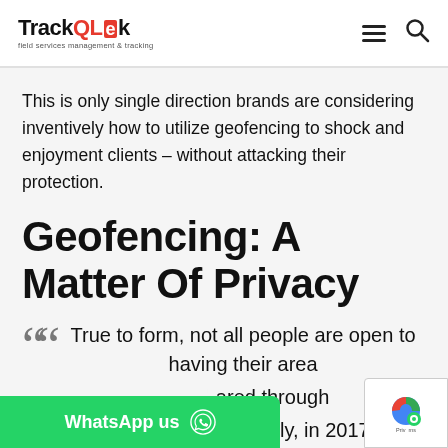TrackQLek – field services management & tracking
This is only single direction brands are considering inventively how to utilize geofencing to shock and enjoyment clients – without attacking their protection.
Geofencing: A Matter Of Privacy
True to form, not all people are open to having their area [info] shared through geofencing. Actually, in 2017